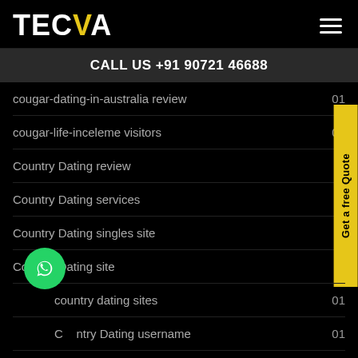TECVA
CALL US +91 90721 46688
cougar-dating-in-australia review  01
cougar-life-inceleme visitors  01
Country Dating review
Country Dating services
Country Dating singles site
Country Dating site
country dating sites  01
Country Dating username  01
Country Singles Online over here  01